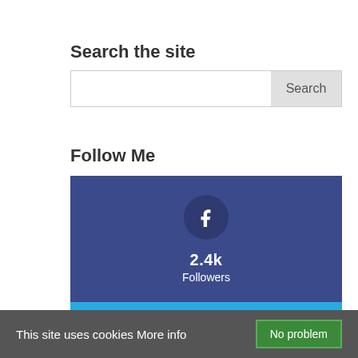Search the site
[Figure (screenshot): Search input box with a Search button on the right]
Follow Me
[Figure (infographic): Facebook follow widget: dark blue card with f icon circle, 2.4k Followers]
[Figure (infographic): Twitter follow widget: light blue card with bird icon circle, 3.3k Followers]
[Figure (infographic): Partial third social follow card, grey, partially visible at bottom]
This site uses cookies More info No problem